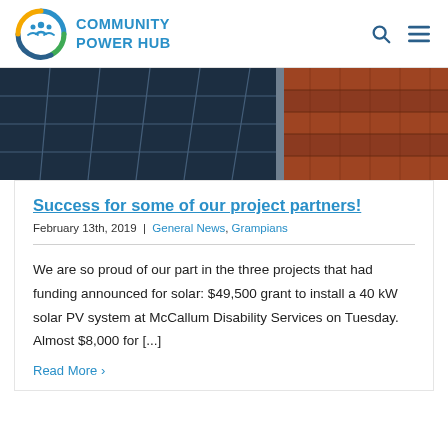[Figure (logo): Community Power Hub logo: circular icon with people silhouettes (blue/green/gold) and blue text 'COMMUNITY POWER HUB']
[Figure (photo): Aerial/close-up photo of solar panels on a red/terracotta tile roof]
Success for some of our project partners!
February 13th, 2019 | General News, Grampians
We are so proud of our part in the three projects that had funding announced for solar: $49,500 grant to install a 40 kW solar PV system at McCallum Disability Services on Tuesday. Almost $8,000 for [...]
Read More >